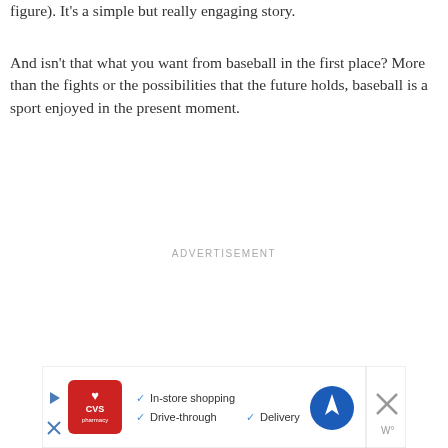figure). It's a simple but really engaging story.
And isn't that what you want from baseball in the first place? More than the fights or the possibilities that the future holds, baseball is a sport enjoyed in the present moment.
ADVERTISEMENT
[Figure (other): CVS Pharmacy advertisement banner with checkmarks listing In-store shopping, Drive-through, Delivery and a navigation icon]